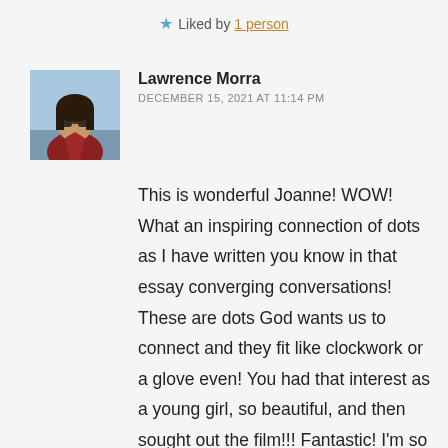★ Liked by 1 person
Lawrence Morra
DECEMBER 15, 2021 AT 11:14 PM
[Figure (photo): Profile photo of Lawrence Morra — person wearing sunglasses and a red/burgundy jacket, dark hair, outdoor background]
This is wonderful Joanne! WOW! What an inspiring connection of dots as I have written you know in that essay converging conversations! These are dots God wants us to connect and they fit like clockwork or a glove even! You had that interest as a young girl, so beautiful, and then sought out the film!!! Fantastic! I'm so moved and touched by this! Watch it again as soon